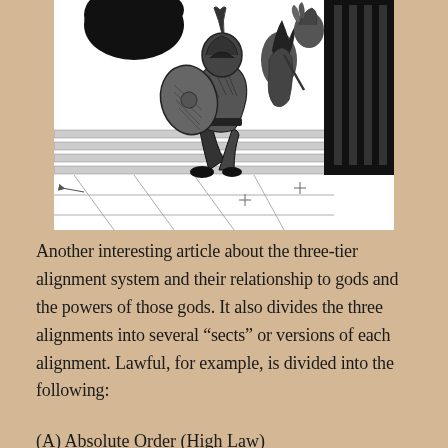[Figure (illustration): Black and white ink illustration showing an armored warrior with a shield running or leaping on stone steps, with another figure holding a torch or flame behind them, in a fantasy/RPG art style.]
Another interesting article about the three-tier alignment system and their relationship to gods and the powers of those gods. It also divides the three alignments into several “sects” or versions of each alignment. Lawful, for example, is divided into the following:
(A) Absolute Order (High Law)